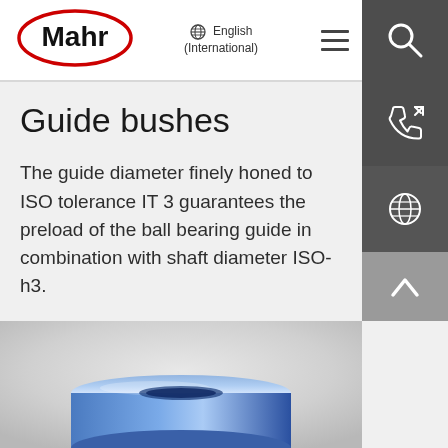[Figure (logo): Mahr logo — wordmark 'Mahr' in bold black inside a red oval outline]
🌐 English (International)
Guide bushes
The guide diameter finely honed to ISO tolerance IT 3 guarantees the preload of the ball bearing guide in combination with shaft diameter ISO-h3.
[Figure (photo): Blue cylindrical guide bush / sleeve component shown at an angle on a light grey gradient background]